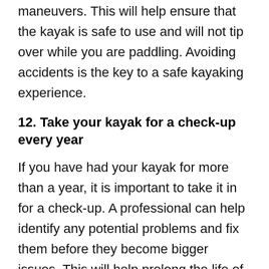maneuvers. This will help ensure that the kayak is safe to use and will not tip over while you are paddling. Avoiding accidents is the key to a safe kayaking experience.
12. Take your kayak for a check-up every year
If you have had your kayak for more than a year, it is important to take it in for a check-up. A professional can help identify any potential problems and fix them before they become bigger issues. This will help prolong the life of your kayak and keep you safe while kayaking.
Following these kayak maintenance recommendations will keep your kayak in excellent